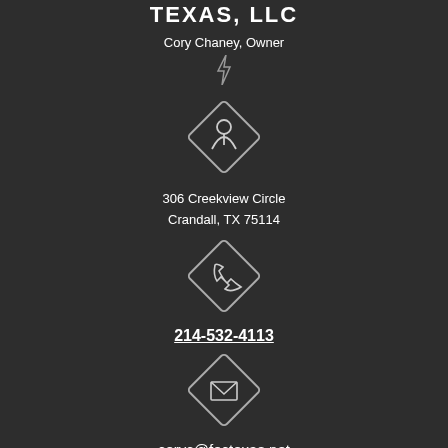TEXAS, LLC
Cory Chaney, Owner
[Figure (illustration): Lightning bolt icon (small)]
[Figure (illustration): Diamond-shaped icon with location/map pin and person silhouette]
306 Creekview Circle
Crandall, TX 75114
[Figure (illustration): Diamond-shaped icon with phone/call symbol]
214-532-4113
[Figure (illustration): Diamond-shaped icon with envelope/mail symbol]
coryc@fectexas.net